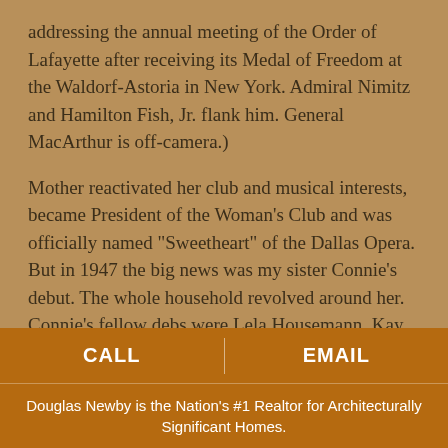addressing the annual meeting of the Order of Lafayette after receiving its Medal of Freedom at the Waldorf-Astoria in New York. Admiral Nimitz and Hamilton Fish, Jr. flank him. General MacArthur is off-camera.)
Mother reactivated her club and musical interests, became President of the Woman's Club and was officially named "Sweetheart" of the Dallas Opera. But in 1947 the big news was my sister Connie's debut. The whole household revolved around her. Connie's fellow debs were Lela Housemann, Kay Harrington, Nancy Burrus, Suzanne Sailor, Beverly Smith and Joan Adams. Her escorts included: George Parker, Jr., Neil Platter, Everett de Golyer, Harry Rankin, Dick Potter, Tom
CALL | EMAIL
Douglas Newby is the Nation's #1 Realtor for Architecturally Significant Homes.